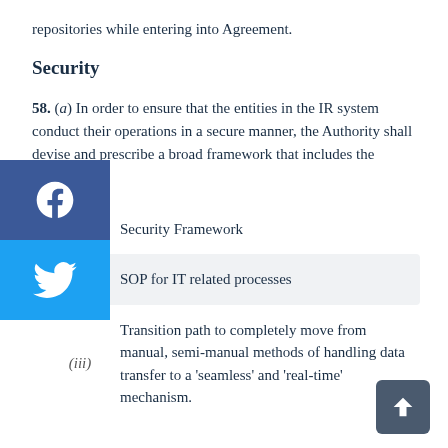repositories while entering into Agreement.
Security
58. (a) In order to ensure that the entities in the IR system conduct their operations in a secure manner, the Authority shall devise and prescribe a broad framework that includes the following:
(i) Security Framework
(ii) SOP for IT related processes
(iii) Transition path to completely move from manual, semi-manual methods of handling data transfer to a 'seamless' and 'real-time' mechanism.